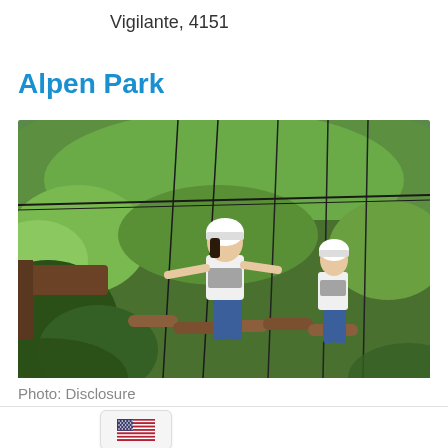Vigilante, 4151
Alpen Park
[Figure (photo): Two people wearing white helmets and harnesses navigating a suspended rope and log bridge in a tree-top adventure park, surrounded by green forest in the background.]
Photo: Disclosure
[Figure (illustration): US flag icon inside a rounded rectangle button]